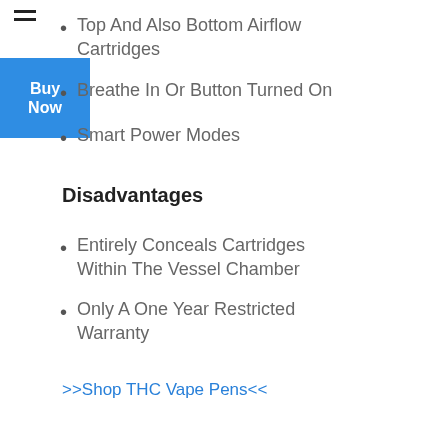Top And Also Bottom Airflow Cartridges
Breathe In Or Button Turned On
Smart Power Modes
Disadvantages
Entirely Conceals Cartridges Within The Vessel Chamber
Only A One Year Restricted Warranty
>>Shop THC Vape Pens<<